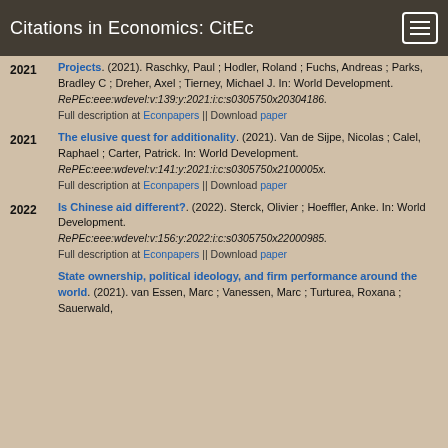Citations in Economics: CitEc
Projects. (2021). Raschky, Paul ; Hodler, Roland ; Fuchs, Andreas ; Parks, Bradley C ; Dreher, Axel ; Tierney, Michael J. In: World Development. RePEc:eee:wdevel:v:139:y:2021:i:c:s0305750x20304186. Full description at Econpapers || Download paper
The elusive quest for additionality. (2021). Van de Sijpe, Nicolas ; Calel, Raphael ; Carter, Patrick. In: World Development. RePEc:eee:wdevel:v:141:y:2021:i:c:s0305750x2100005x. Full description at Econpapers || Download paper
Is Chinese aid different?. (2022). Sterck, Olivier ; Hoeffler, Anke. In: World Development. RePEc:eee:wdevel:v:156:y:2022:i:c:s0305750x22000985. Full description at Econpapers || Download paper
State ownership, political ideology, and firm performance around the world. (2021). van Essen, Marc ; Vanessen, Marc ; Turturea, Roxana ; Sauerwald,